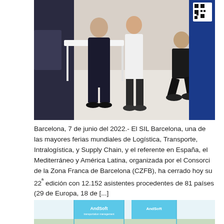[Figure (photo): Photo of people at a trade fair booth, showing two or three individuals near a white table with a blue backdrop and a QR code visible in the upper right corner.]
Barcelona, 7 de junio del 2022.- El SIL Barcelona, una de las mayores ferias mundiales de Logística, Transporte, Intralogística, y Supply Chain, y el referente en España, el Mediterráneo y América Latina, organizada por el Consorci de la Zona Franca de Barcelona (CZFB), ha cerrado hoy su 22ª edición con 12.152 asistentes procedentes de 81 países (29 de Europa, 18 de [...]
AndSoft presenta en el SIL 2022 soluciones para el transporte especial ADR y carga sobredimensionada
[Figure (photo): Photo of the AndSoft exhibition booth at SIL 2022, showing a modern stand with light blue panels and the AndSoft logo displayed prominently.]